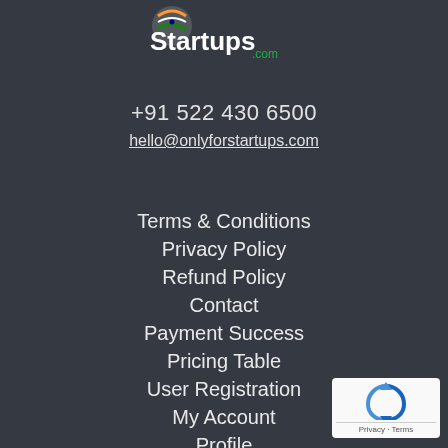[Figure (logo): OnlyForStartups.com logo — white text 'Startups' with orange and green Indian flag motif, '.com' in green]
+91 522 430 6500
hello@onlyforstartups.com
Terms & Conditions
Privacy Policy
Refund Policy
Contact
Payment Success
Pricing Table
User Registration
My Account
Profile
[Figure (logo): Google reCAPTCHA badge — blue circular arrow icon with 'Privacy · Terms' text at bottom]